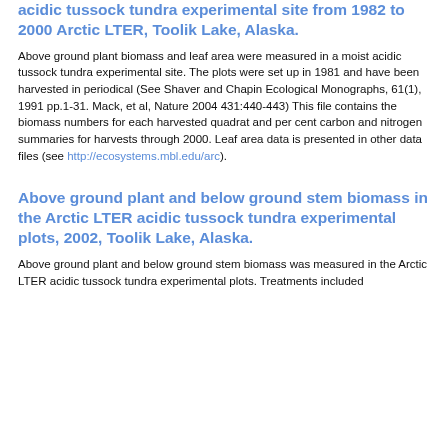acidic tussock tundra experimental site from 1982 to 2000 Arctic LTER, Toolik Lake, Alaska.
Above ground plant biomass and leaf area were measured in a moist acidic tussock tundra experimental site. The plots were set up in 1981 and have been harvested in periodical (See Shaver and Chapin Ecological Monographs, 61(1), 1991 pp.1-31. Mack, et al, Nature 2004 431:440-443) This file contains the biomass numbers for each harvested quadrat and per cent carbon and nitrogen summaries for harvests through 2000. Leaf area data is presented in other data files (see http://ecosystems.mbl.edu/arc).
Above ground plant and below ground stem biomass in the Arctic LTER acidic tussock tundra experimental plots, 2002, Toolik Lake, Alaska.
Above ground plant and below ground stem biomass was measured in the Arctic LTER acidic tussock tundra experimental plots. Treatments included